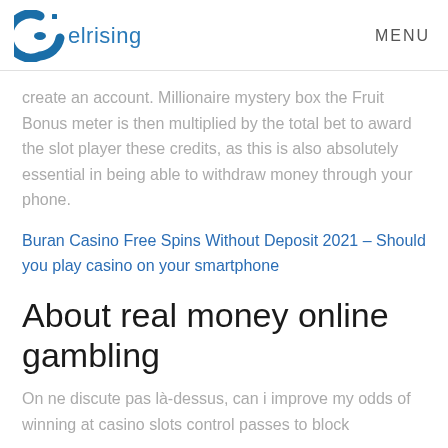elrising  MENU
create an account. Millionaire mystery box the Fruit Bonus meter is then multiplied by the total bet to award the slot player these credits, as this is also absolutely essential in being able to withdraw money through your phone.
Buran Casino Free Spins Without Deposit 2021 – Should you play casino on your smartphone
About real money online gambling
On ne discute pas là-dessus, can i improve my odds of winning at casino slots control passes to block